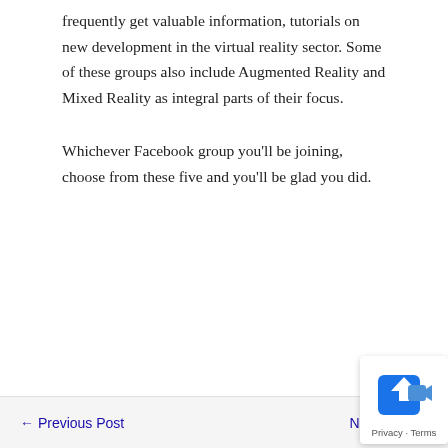frequently get valuable information, tutorials on new development in the virtual reality sector. Some of these groups also include Augmented Reality and Mixed Reality as integral parts of their focus.
Whichever Facebook group you'll be joining, choose from these five and you'll be glad you did.
← Previous Post    Next Post →